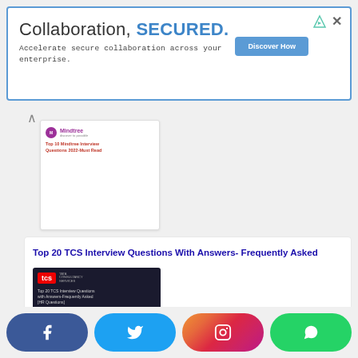[Figure (screenshot): Advertisement banner: 'Collaboration, SECURED.' with blue button 'Discover How' and subtitle 'Accelerate secure collaboration across your enterprise.']
[Figure (screenshot): Thumbnail card for Mindtree interview questions article with Mindtree logo]
Top 20 TCS Interview Questions With Answers- Frequently Asked
[Figure (screenshot): TCS (Tata Consultancy Services) thumbnail image with text 'Top 20 TCS Interview Questions with Answers-Frequently Asked [HR Questions]' on dark background]
[Figure (other): Social media share buttons: Facebook, Twitter, Instagram, WhatsApp]